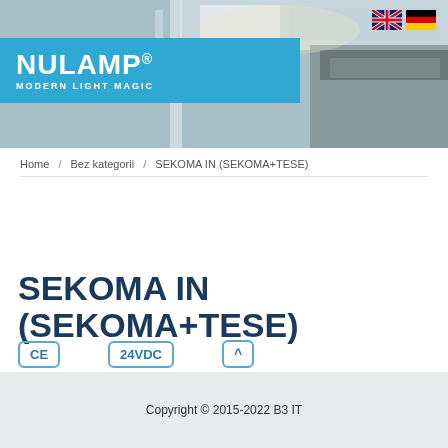[Figure (photo): Hero banner with architectural building background and NULAMP blue branded logo bar. Flags of UK and Germany in top right corner.]
Home / Bez kategorii / SEKOMA IN (SEKOMA+TESE)
SEKOMA IN (SEKOMA+TESE)
[Figure (other): CE certification badge icon]
[Figure (other): 24VDC voltage badge icon]
[Figure (other): Arrow/roof symbol badge icon]
Copyright © 2015-2022 B3 IT